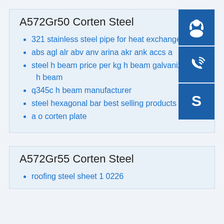A572Gr50 Corten Steel
321 stainless steel pipe for heat exchanger pric
abs agl alr abv anv arina akr ank accs a
steel h beam price per kg h beam galvanized st h beam
q345c h beam manufacturer
steel hexagonal bar best selling products
a o corten plate
A572Gr55 Corten Steel
roofing steel sheet 1 0226